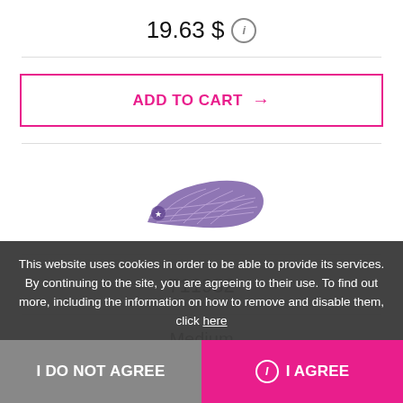19.63 $ ⓘ
ADD TO CART →
[Figure (illustration): Purple floorball/hockey blade product image]
711932
Medium
This website uses cookies in order to be able to provide its services. By continuing to the site, you are agreeing to their use. To find out more, including the information on how to remove and disable them, click here
I DO NOT AGREE
I AGREE